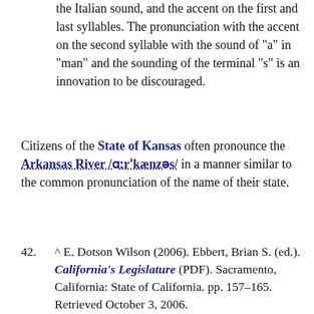the Italian sound, and the accent on the first and last syllables. The pronunciation with the accent on the second syllable with the sound of "a" in "man" and the sounding of the terminal "s" is an innovation to be discouraged.
Citizens of the State of Kansas often pronounce the Arkansas River /ɑːrˈkænzəs/ in a manner similar to the common pronunciation of the name of their state.
42. ^ E. Dotson Wilson (2006). Ebbert, Brian S. (ed.). California's Legislature (PDF). Sacramento, California: State of California. pp. 157–165. Retrieved October 3, 2006.
43. ^ Early Capitol and Legislative Assembly Locations Colorado State Archives, Colorado State Capitol Virtual Tour. Updated June 20, 2003. Accessed June 9, 2005.
44. ^ From December 3, 1859, to December 3, 1861, Denver City was formally the City of Denver, Arapahoe and Highland...